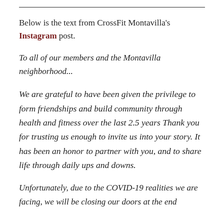Below is the text from CrossFit Montavilla's Instagram post.
To all of our members and the Montavilla neighborhood...
We are grateful to have been given the privilege to form friendships and build community through health and fitness over the last 2.5 years Thank you for trusting us enough to invite us into your story. It has been an honor to partner with you, and to share life through daily ups and downs.
Unfortunately, due to the COVID-19 realities we are facing, we will be closing our doors at the end